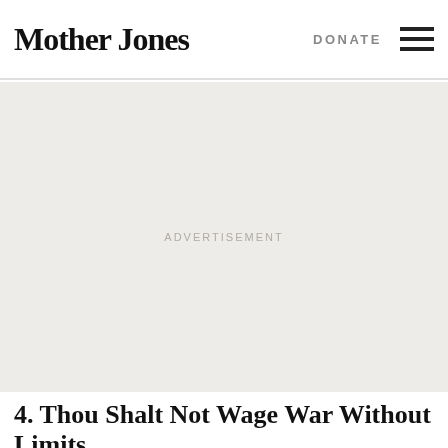Mother Jones | DONATE
[Figure (other): Advertisement placeholder area with light beige background and centered 'ADVERTISEMENT' label text]
4. Thou Shalt Not Wage War Without Limits